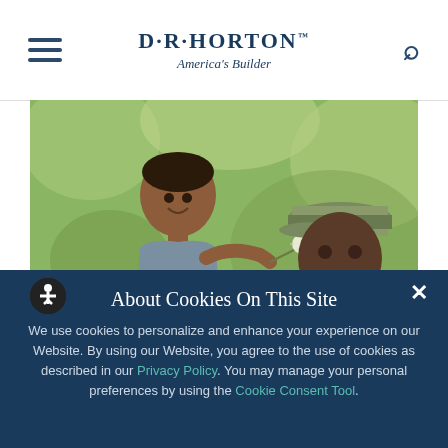[Figure (logo): D·R·Horton America's Builder logo with hamburger menu icon on left and search icon on right]
[Figure (photo): A young boy in a polo shirt smiling and offering a dandelion to a man in US Army camouflage uniform, outdoors with green bokeh background]
About Cookies On This Site
We use cookies to personalize and enhance your experience on our Website. By using our Website, you agree to the use of cookies as described in our Privacy Policy. You may manage your personal preferences by using the Cookie Consent Tool.